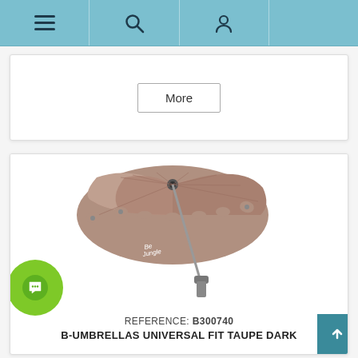Navigation bar with menu, search, and account icons
More
[Figure (photo): A taupe dark colored baby stroller umbrella (parasol) with the Be Jungle logo, shown open from a front-side angle with a metal clamp attachment at the bottom]
REFERENCE: B300740
B-UMBRELLAS UNIVERSAL FIT TAUPE DARK